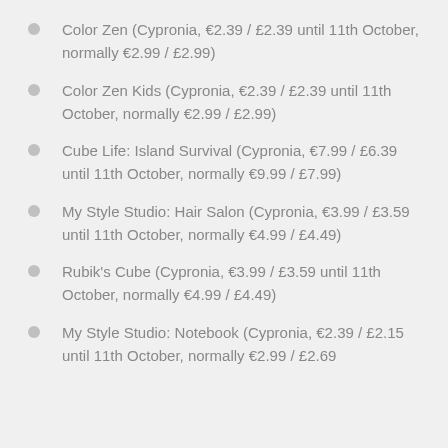Color Zen (Cypronia, €2.39 / £2.39 until 11th October, normally €2.99 / £2.99)
Color Zen Kids (Cypronia, €2.39 / £2.39 until 11th October, normally €2.99 / £2.99)
Cube Life: Island Survival (Cypronia, €7.99 / £6.39 until 11th October, normally €9.99 / £7.99)
My Style Studio: Hair Salon (Cypronia, €3.99 / £3.59 until 11th October, normally €4.99 / £4.49)
Rubik's Cube (Cypronia, €3.99 / £3.59 until 11th October, normally €4.99 / £4.49)
My Style Studio: Notebook (Cypronia, €2.39 / £2.15 until 11th October, normally €2.99 / £2.69